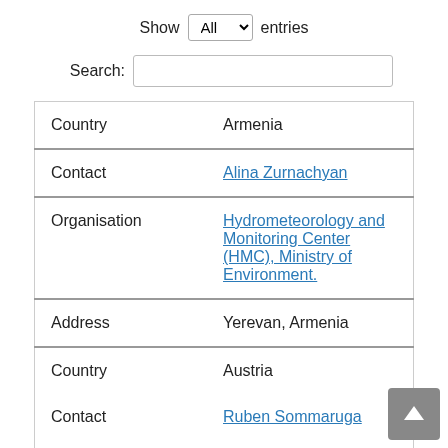Show All entries
Search:
| Field | Value |
| --- | --- |
| Country | Armenia |
| Contact | Alina Zurnachyan |
| Organisation | Hydrometeorology and Monitoring Center (HMC), Ministry of Environment. |
| Address | Yerevan, Armenia |
| Country | Austria |
| Contact | Ruben Sommaruga |
| Organisation | Departement of |